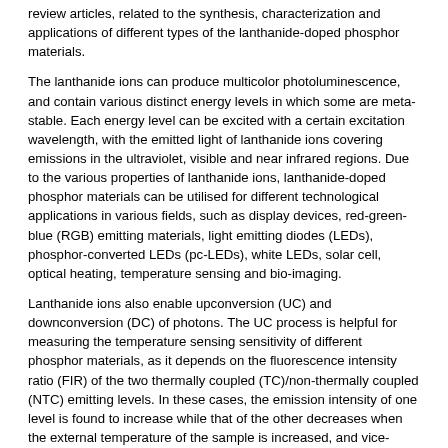review articles, related to the synthesis, characterization and applications of different types of the lanthanide-doped phosphor materials.
The lanthanide ions can produce multicolor photoluminescence, and contain various distinct energy levels in which some are meta-stable. Each energy level can be excited with a certain excitation wavelength, with the emitted light of lanthanide ions covering emissions in the ultraviolet, visible and near infrared regions. Due to the various properties of lanthanide ions, lanthanide-doped phosphor materials can be utilised for different technological applications in various fields, such as display devices, red-green-blue (RGB) emitting materials, light emitting diodes (LEDs), phosphor-converted LEDs (pc-LEDs), white LEDs, solar cell, optical heating, temperature sensing and bio-imaging.
Lanthanide ions also enable upconversion (UC) and downconversion (DC) of photons. The UC process is helpful for measuring the temperature sensing sensitivity of different phosphor materials, as it depends on the fluorescence intensity ratio (FIR) of the two thermally coupled (TC)/non-thermally coupled (NTC) emitting levels. In these cases, the emission intensity of one level is found to increase while that of the other decreases when the external temperature of the sample is increased, and vice-versa. This generates lattice vibration in the host lattice, which initiates a shift in the population of the excited ions from one level to the other. The plot between FIR-based sensitivity and external temperature gives temperature sensing, which can be examined in the other lanthanide-doped phosphor materials.
The aim of this collection is to focus on the synthesis, as well as the structural and optical properties, of different types of lanthanide-doped phosphor materials, such as phosphors, nano-phosphors and phosphor composites. This collection welcomes primary research articles as well as review articles, related to the synthesis, characterization and applications of different types of the lanthanide-doped phosphor materials.